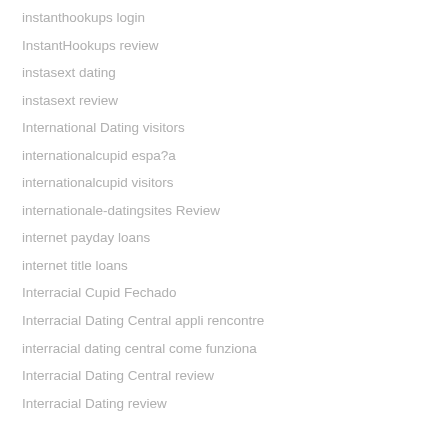instanthookups login
InstantHookups review
instasext dating
instasext review
International Dating visitors
internationalcupid espa?a
internationalcupid visitors
internationale-datingsites Review
internet payday loans
internet title loans
Interracial Cupid Fechado
Interracial Dating Central appli rencontre
interracial dating central come funziona
Interracial Dating Central review
Interracial Dating review